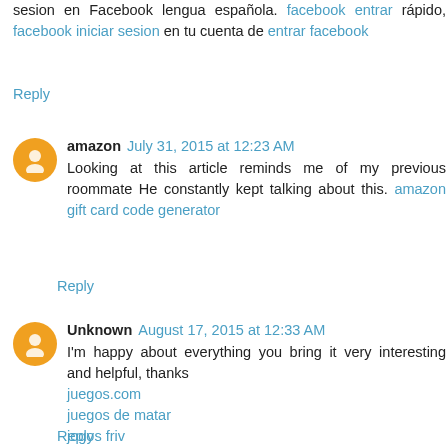sesion en Facebook lengua española. facebook entrar rápido, facebook iniciar sesion en tu cuenta de entrar facebook
Reply
amazon July 31, 2015 at 12:23 AM
Looking at this article reminds me of my previous roommate He constantly kept talking about this. amazon gift card code generator
Reply
Unknown August 17, 2015 at 12:33 AM
I'm happy about everything you bring it very interesting and helpful, thanks
juegos.com
juegos de matar
jogos friv
Reply